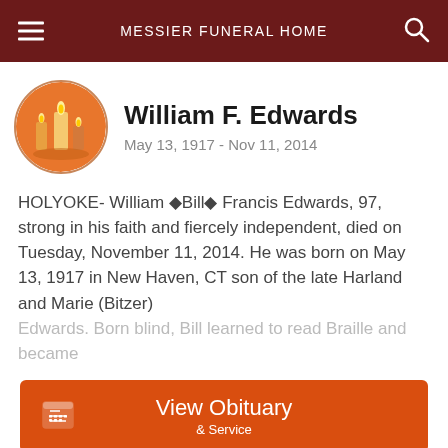MESSIER FUNERAL HOME
William F. Edwards
May 13, 1917 - Nov 11, 2014
HOLYOKE- William ◆Bill◆ Francis Edwards, 97, strong in his faith and fiercely independent, died on Tuesday, November 11, 2014. He was born on May 13, 1917 in New Haven, CT son of the late Harland and Marie (Bitzer) Edwards. Born blind, Bill learned to read Braille and became
[Figure (illustration): Circular profile image with orange candles on a warm background]
View Obituary & Service
Send Flowers
Share